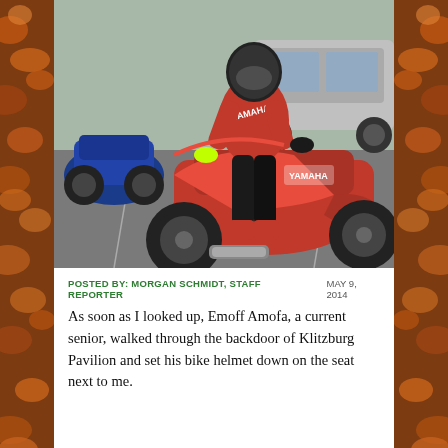[Figure (photo): A motorcyclist in a red Yamaha racing suit and helmet sitting on a red Yamaha sport motorcycle in a parking lot. Another blue motorcycle is visible in the background along with a silver SUV. The rider is wearing full racing leathers.]
POSTED BY: MORGAN SCHMIDT, STAFF REPORTER   MAY 9, 2014
As soon as I looked up, Emoff Amofa, a current senior, walked through the backdoor of Klitzburg Pavilion and set his bike helmet down on the seat next to me.